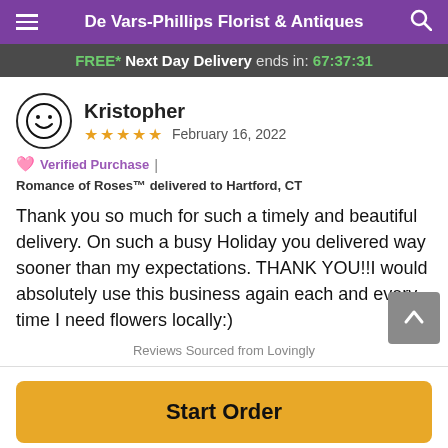De Vars-Phillips Florist & Antiques
FREE* Next Day Delivery ends in: 67:37:31
Kristopher
★★★★★  February 16, 2022
❤️ Verified Purchase | Romance of Roses™ delivered to Hartford, CT
Thank you so much for such a timely and beautiful delivery. On such a busy Holiday you delivered way sooner than my expectations. THANK YOU!!I would absolutely use this business again each and every time I need flowers locally:)
Reviews Sourced from Lovingly
Start Order